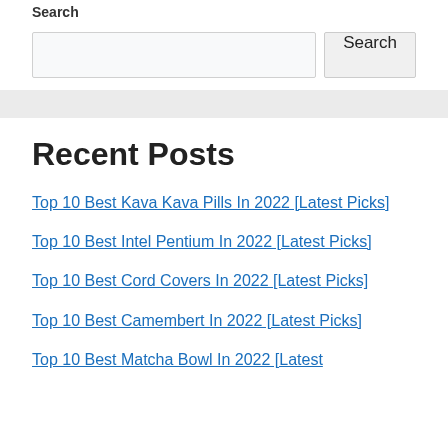Search
Recent Posts
Top 10 Best Kava Kava Pills In 2022 [Latest Picks]
Top 10 Best Intel Pentium In 2022 [Latest Picks]
Top 10 Best Cord Covers In 2022 [Latest Picks]
Top 10 Best Camembert In 2022 [Latest Picks]
Top 10 Best Matcha Bowl In 2022 [Latest…